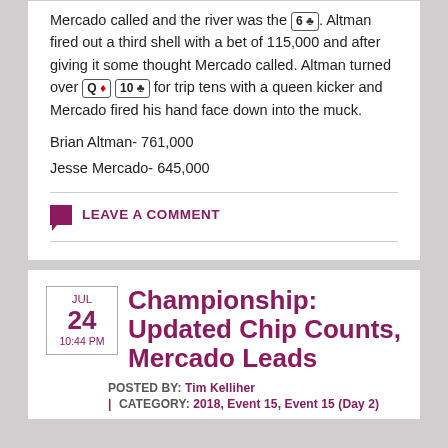Mercado called and the river was the 6♣. Altman fired out a third shell with a bet of 115,000 and after giving it some thought Mercado called. Altman turned over Q♦ 10♣ for trip tens with a queen kicker and Mercado fired his hand face down into the muck.
Brian Altman- 761,000
Jesse Mercado- 645,000
LEAVE A COMMENT
Championship: Updated Chip Counts, Mercado Leads
POSTED BY: Tim Kelliher
| CATEGORY: 2018, Event 15, Event 15 (Day 2)